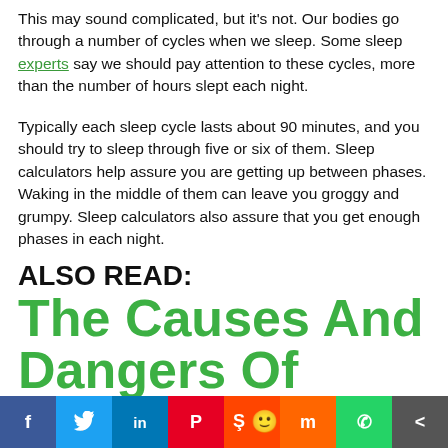This may sound complicated, but it's not. Our bodies go through a number of cycles when we sleep. Some sleep experts say we should pay attention to these cycles, more than the number of hours slept each night.
Typically each sleep cycle lasts about 90 minutes, and you should try to sleep through five or six of them. Sleep calculators help assure you are getting up between phases. Waking in the middle of them can leave you groggy and grumpy. Sleep calculators also assure that you get enough phases in each night.
“Waking up mid-cycle can leave you feeling grumpy and tired,” warns web-blinds.com, which has developed a sleep calculator that you can use here.
ALSO READ: The Causes And Dangers Of